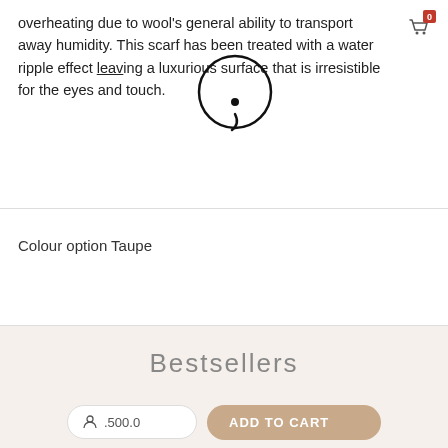overheating due to wool's general ability to transport away humidity. This scarf has been treated with a water ripple effect leaving a luxurious surface that is irresistible for the eyes and touch.
Colour option Taupe
Bestsellers
[Figure (photo): Taupe coloured scarf folded/draped, shown in cream/beige tones against a warm background]